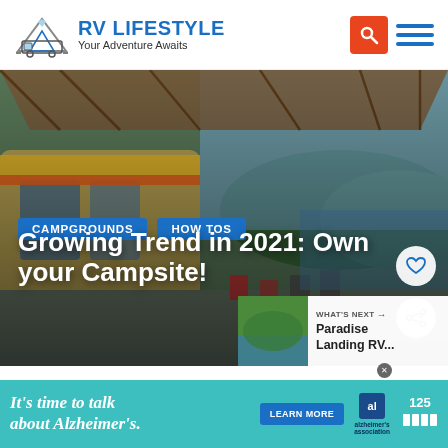[Figure (logo): RV Lifestyle logo with mountain and RV icon]
RV LIFESTYLE
Your Adventure Awaits
[Figure (photo): Large RV parked under an open-air pavilion structure with trees and lake visible in background]
CAMPGROUNDS
HOW TOS
Growing Trend in 2021: Own your Campsite!
WHAT'S NEXT → Paradise Landing RV...
[Figure (photo): Thumbnail of Paradise Landing RV location]
[Figure (infographic): Advertisement banner: It's time to talk about Alzheimer's. LEARN MORE. Alzheimer's Association logo.]